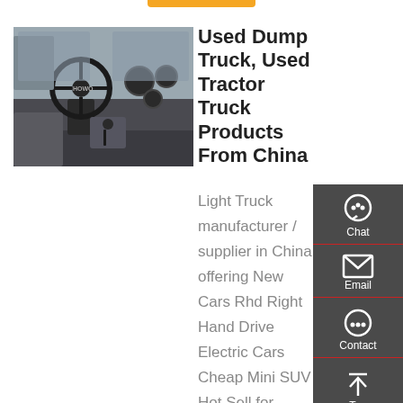[Figure (photo): Interior view of a truck cab showing steering wheel, dashboard, and center console]
Used Dump Truck, Used Tractor Truck Products From China
Light Truck manufacturer / supplier in China, offering New Cars Rhd Right Hand Drive Electric Cars Cheap Mini SUV Hot Sell for Adults Made in China Solar Extended Range, CE Certificate New Energy Passenger Vehicle Family Sedan Electric Car, Electric Car Electric
[Figure (infographic): Side panel with Chat, Email, Contact, and Top navigation icons on dark grey background]